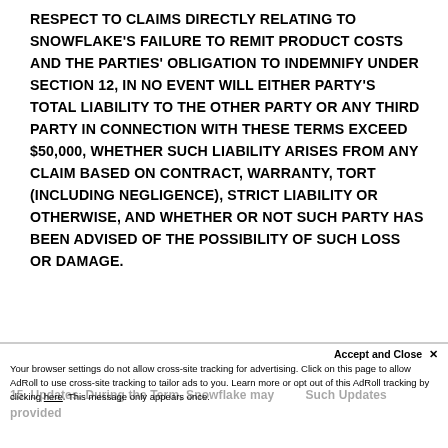RESPECT TO CLAIMS DIRECTLY RELATING TO SNOWFLAKE'S FAILURE TO REMIT PRODUCT COSTS AND THE PARTIES' OBLIGATION TO INDEMNIFY UNDER SECTION 12, IN NO EVENT WILL EITHER PARTY'S TOTAL LIABILITY TO THE OTHER PARTY OR ANY THIRD PARTY IN CONNECTION WITH THESE TERMS EXCEED $50,000, WHETHER SUCH LIABILITY ARISES FROM ANY CLAIM BASED ON CONTRACT, WARRANTY, TORT (INCLUDING NEGLIGENCE), STRICT LIABILITY OR OTHERWISE, AND WHETHER OR NOT SUCH PARTY HAS BEEN ADVISED OF THE POSSIBILITY OF SUCH LOSS OR DAMAGE.
Accept and Close ×
Your browser settings do not allow cross-site tracking for advertising. Click on this page to allow AdRoll to use cross-site tracking to tailor ads to you. Learn more or opt out of this AdRoll tracking by clicking here. This message only appears once.
15. Updates. During the Term, Snowflake may modify Such Updates provided...